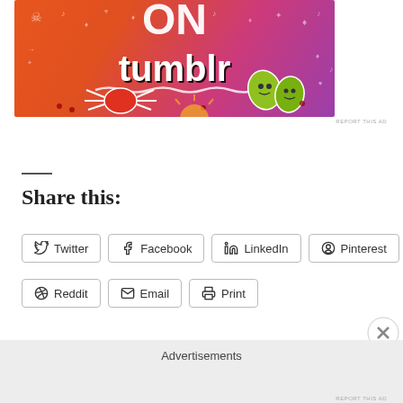[Figure (illustration): Tumblr advertisement banner with colorful orange-to-purple gradient background, featuring the word 'tumblr' in bold white text with black shadow, decorative doodles including a crab/spider, leaf characters, skulls, hearts, and music notes. Text 'ON' visible at top.]
REPORT THIS AD
Share this:
Twitter
Facebook
LinkedIn
Pinterest
Reddit
Email
Print
Advertisements
REPORT THIS AD